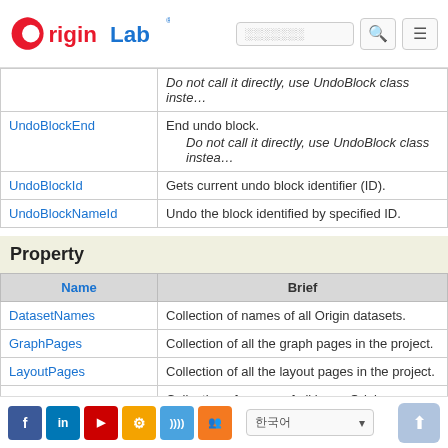OriginLab
| Name | Brief |
| --- | --- |
| (truncated) | Do not call it directly, use UndoBlock class instead. |
| UndoBlockEnd | End undo block.
Do not call it directly, use UndoBlock class instead. |
| UndoBlockId | Gets current undo block identifier (ID). |
| UndoBlockNameId | Undo the block identified by specified ID. |
Property
| Name | Brief |
| --- | --- |
| DatasetNames | Collection of names of all Origin datasets. |
| GraphPages | Collection of all the graph pages in the project. |
| LayoutPages | Collection of all the layout pages in the project. |
| LooseDatasetNames | Collection of names of all loose Origin datasets. |
| MatrixPages | Collection of all the matrix pages in the project. |
| (truncated) | Collection of all the ... |
Social links and language selector